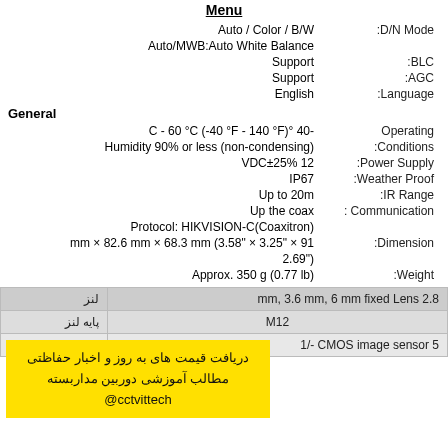Menu
| Value | Parameter |
| --- | --- |
| Auto / Color / B/W | :D/N Mode |
| Auto/MWB:Auto White Balance |  |
| Support | :BLC |
| Support | :AGC |
| English | :Language |
General
| Value | Parameter |
| --- | --- |
| C - 60 °C (-40 °F - 140 °F)° 40- | Operating |
| Humidity 90% or less (non-condensing) | :Conditions |
| VDC±25% 12 | :Power Supply |
| IP67 | :Weather Proof |
| Up to 20m | :IR Range |
| Up the coax | : Communication |
| Protocol: HIKVISION-C(Coaxitron) |  |
| mm × 82.6 mm × 68.3 mm (3.58" × 3.25" × 91 | :Dimension |
| 2.69") |  |
| Approx. 350 g (0.77 lb) | :Weight |
| لنز label | Value |
| --- | --- |
| لنز | mm, 3.6 mm, 6 mm fixed Lens 2.8 |
| پایه لنز | M12 |
| سنسور تصویری | 1/- CMOS image sensor 5 |